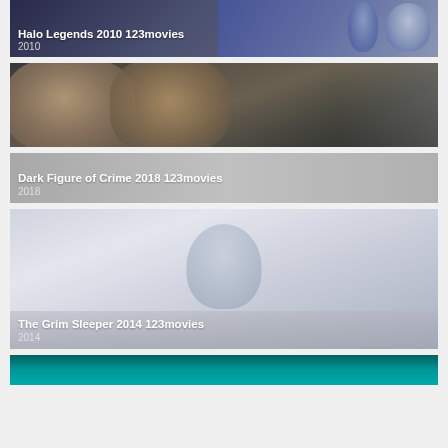[Figure (screenshot): Movie thumbnail for Halo Legends 2010 with animated characters on dark blue background]
Halo Legends 2010 123movies
2010
[Figure (screenshot): Movie thumbnail for Dark Figure of Crime 2018 showing two Asian men's faces in close-up]
Dark Figure of Crime 2018 123movies
2018
[Figure (screenshot): Movie thumbnail for The Grim Sleeper 2014 with light grey/blue foggy background and faint figure]
The Grim Sleeper 2014 123movies
2014
[Figure (screenshot): Partial movie thumbnail at bottom with teal/green color]